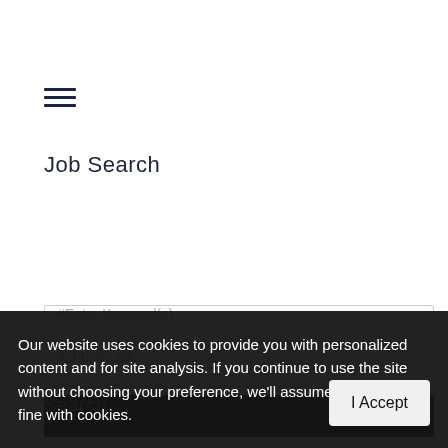[Figure (other): Hamburger menu icon — three horizontal lines]
Job Search
[Figure (screenshot): Job search form with keyword input field showing placeholder '#Enter Keyword(s)', location input showing placeholder 'Ashburn, VA', and a dark Search button]
Our website uses cookies to provide you with personalized content and for site analysis. If you continue to use the site without choosing your preference, we'll assume that you're fine with cookies.
I Accept